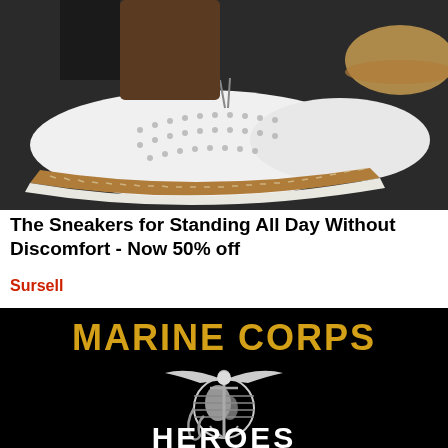[Figure (photo): Close-up photo of white perforated slip-on sneakers with tan/brown rubber soles and espadrille-style stitching, worn by a person standing on a dark surface. A second pair of tan shoes is visible in the background.]
The Sneakers for Standing All Day Without Discomfort - Now 50% off
Sursell
[Figure (photo): Black background image with gold text 'MARINE CORPS' at the top, the Eagle Globe and Anchor emblem in black and white in the center, and white text 'HEROES' partially visible at the bottom.]